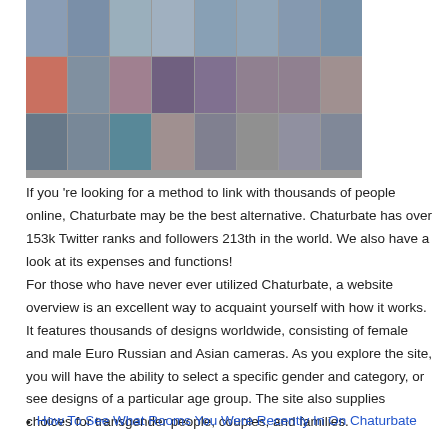[Figure (screenshot): Screenshot of Chaturbate website showing a grid of video thumbnails with profile pictures arranged in 3 rows of 8 columns]
If you 're looking for a method to link with thousands of people online, Chaturbate may be the best alternative. Chaturbate has over 153k Twitter ranks and followers 213th in the world. We also have a look at its expenses and functions! For those who have never ever utilized Chaturbate, a website overview is an excellent way to acquaint yourself with how it works. It features thousands of designs worldwide, consisting of female and male Euro Russian and Asian cameras. As you explore the site, you will have the ability to select a specific gender and category, or see designs of a particular age group. The site also supplies choices for transgender people, couples, and families.
How To See What Rooms You Were Recently In On Chaturbate